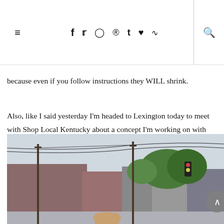≡  f  t  ◎  ℗  t  ♥  )))  🔍
because even if you follow instructions they WILL shrink.
Also, like I said yesterday I'm headed to Lexington today to meet with Shop Local Kentucky about a concept I'm working on with Kentucky Tourism that'll be happening in Nashville on June 4th. Follow along on Instagram + SnapChat @TheKentuckyGent to find out more!
[Figure (photo): Street scene photo showing a person standing on a street with utility poles, cables, and brick buildings in the background with green trees.]